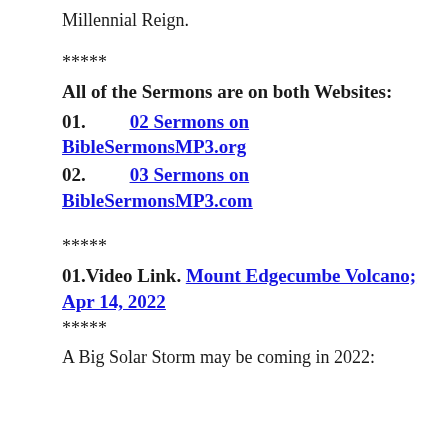Millennial Reign.
*****
All of the Sermons are on both Websites:
01.    02 Sermons on BibleSermonsMP3.org
02.    03 Sermons on BibleSermonsMP3.com
*****
01.Video Link.   Mount Edgecumbe Volcano; Apr 14, 2022
*****
A Big Solar Storm may be coming in 2022: